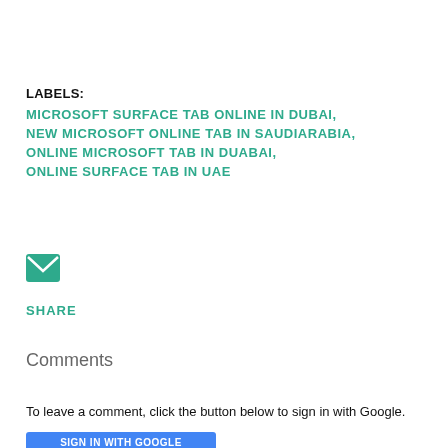LABELS:
MICROSOFT SURFACE TAB ONLINE IN DUBAI,
NEW MICROSOFT ONLINE TAB IN SAUDIARABIA,
ONLINE MICROSOFT TAB IN DUABAI,
ONLINE SURFACE TAB IN UAE
[Figure (illustration): Email/envelope icon in teal/green color]
SHARE
Comments
To leave a comment, click the button below to sign in with Google.
[Figure (screenshot): Blue 'Sign in with Google' button (partially visible)]